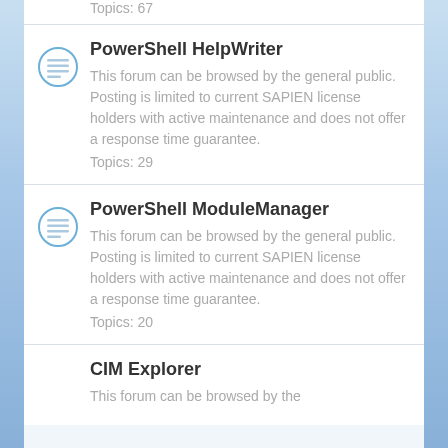Topics: 67
PowerShell HelpWriter
This forum can be browsed by the general public. Posting is limited to current SAPIEN license holders with active maintenance and does not offer a response time guarantee.
Topics: 29
PowerShell ModuleManager
This forum can be browsed by the general public. Posting is limited to current SAPIEN license holders with active maintenance and does not offer a response time guarantee.
Topics: 20
CIM Explorer
This forum can be browsed by the